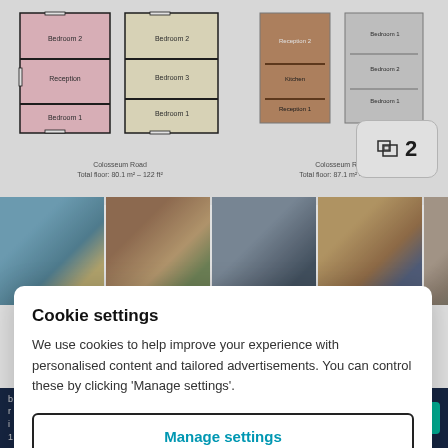[Figure (other): Floor plan diagrams showing two house layouts side by side — left side shows pink-tinted 2D floor plan with multiple rooms, right side shows 3D rendered brown/grey floor plan. A badge showing floor plan icon and number 2 is in the top-right corner.]
[Figure (photo): Strip of 5 property photos showing exterior of terraced houses (brick, blue door) and interior hallway shots.]
Cookie settings
We use cookies to help improve your experience with personalised content and tailored advertisements. You can control these by clicking 'Manage settings'.
Manage settings
Allow all cookies